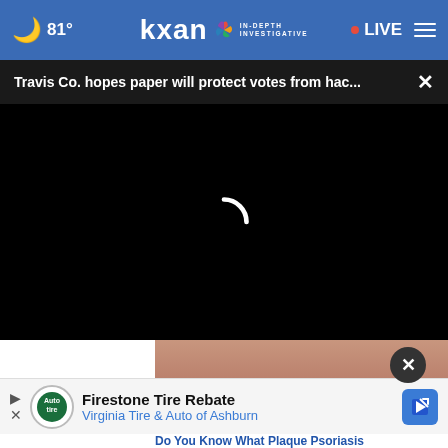🌙 81° | KXAN IN-DEPTH INVESTIGATIVE | LIVE
Travis Co. hopes paper will protect votes from hac... ×
[Figure (screenshot): Black video player area with white loading spinner arc in center]
[Figure (photo): Partial image of skin/finger below the video player with a close button]
Firestone Tire Rebate
Virginia Tire & Auto of Ashburn
Do You Know What Plaque Psoriasis